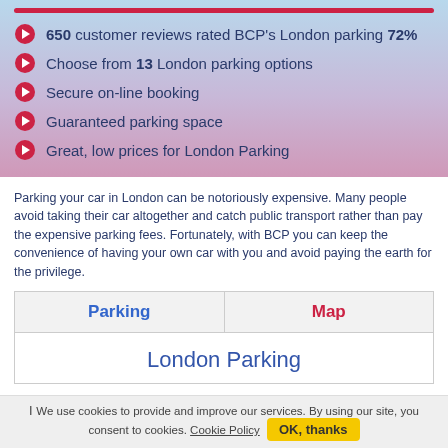650 customer reviews rated BCP's London parking 72%
Choose from 13 London parking options
Secure on-line booking
Guaranteed parking space
Great, low prices for London Parking
Parking your car in London can be notoriously expensive. Many people avoid taking their car altogether and catch public transport rather than pay the expensive parking fees. Fortunately, with BCP you can keep the convenience of having your own car with you and avoid paying the earth for the privilege.
| Parking | Map |
| --- | --- |
| London Parking |  |
We use cookies to provide and improve our services. By using our site, you consent to cookies. Cookie Policy  OK, thanks